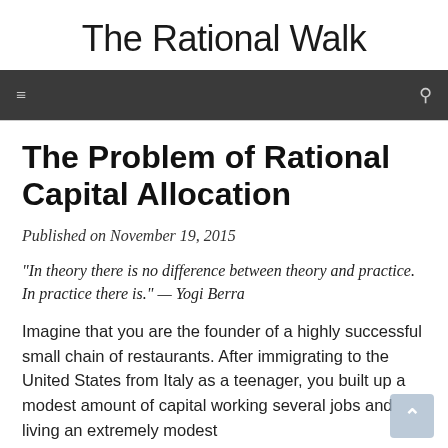The Rational Walk
The Problem of Rational Capital Allocation
Published on November 19, 2015
“In theory there is no difference between theory and practice. In practice there is.” — Yogi Berra
Imagine that you are the founder of a highly successful small chain of restaurants.  After immigrating to the United States from Italy as a teenager, you built up a modest amount of capital working several jobs and living an extremely modest